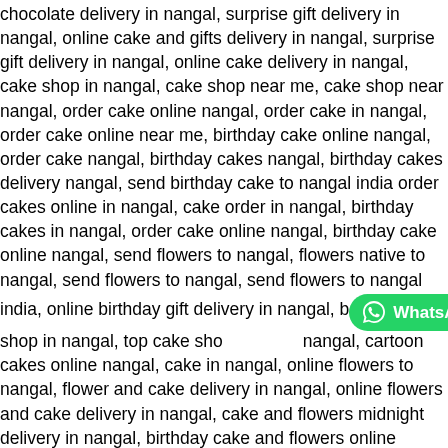chocolate delivery in nangal, surprise gift delivery in nangal, online cake and gifts delivery in nangal, surprise gift delivery in nangal, online cake delivery in nangal, cake shop in nangal, cake shop near me, cake shop near nangal, order cake online nangal, order cake in nangal, order cake online near me, birthday cake online nangal, order cake nangal, birthday cakes nangal, birthday cakes delivery nangal, send birthday cake to nangal india order cakes online in nangal, cake order in nangal, birthday cakes in nangal, order cake online nangal, birthday cake online nangal, send flowers to nangal, flowers native to nangal, send flowers to nangal, send flowers to nangal india, online birthday gift delivery in nangal, b... [WhatsApp Chat button] online gift shop in nangal, top cake sho... nangal, cartoon cakes online nangal, cake in nangal, online flowers to nangal, flower and cake delivery in nangal, online flowers and cake delivery in nangal, cake and flowers midnight delivery in nangal, birthday cake and flowers online delivery in nangal cake and flowers delivery in nangal, birthday cake and flowers delivery in nangal, Send Combo Gifts Online in nangal, Buy Birthday Combos Online In nangal, Send Flower Combo Gifts to nangal, deliver cake and flowers in nangal, send gifts to nangal, send gifts in nangal, flo... [Live Chat button] nangal, flowers in nangal, send chocolates online nang... ...y chocolate delivery in nangal, send flowers to rupnagar punjab, send ...